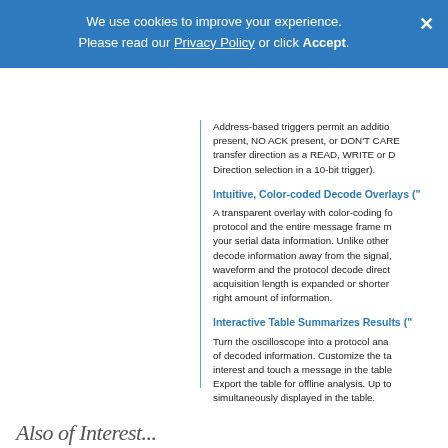We use cookies to improve your experience. Please read our Privacy Policy or click Accept.
Address-based triggers permit an additional present, NO ACK present, or DON'T CARE transfer direction as a READ, WRITE or D Direction selection in a 10-bit trigger).
Intuitive, Color-coded Decode Overlays (
A transparent overlay with color-coding for protocol and the entire message frame m your serial data information. Unlike other decode information away from the signal waveform and the protocol decode direct acquisition length is expanded or shorter right amount of information.
Interactive Table Summarizes Results ("
Turn the oscilloscope into a protocol ana of decoded information. Customize the ta interest and touch a message in the table Export the table for offline analysis. Up to simultaneously displayed in the table.
Also of Interest...